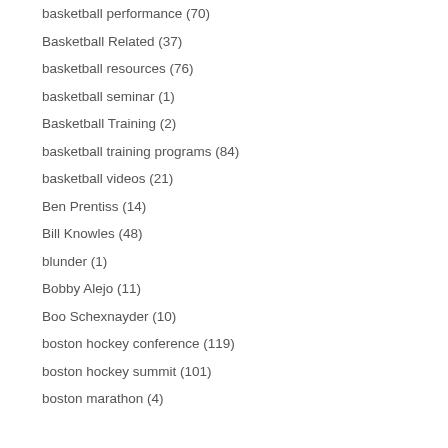basketball performance (70)
Basketball Related (37)
basketball resources (76)
basketball seminar (1)
Basketball Training (2)
basketball training programs (84)
basketball videos (21)
Ben Prentiss (14)
Bill Knowles (48)
blunder (1)
Bobby Alejo (11)
Boo Schexnayder (10)
boston hockey conference (119)
boston hockey summit (101)
boston marathon (4)